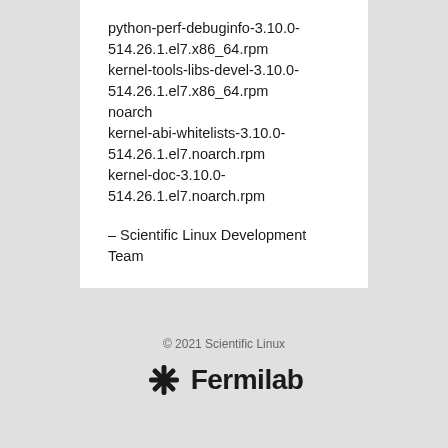python-perf-debuginfo-3.10.0-514.26.1.el7.x86_64.rpm
kernel-tools-libs-devel-3.10.0-514.26.1.el7.x86_64.rpm
noarch
kernel-abi-whitelists-3.10.0-514.26.1.el7.noarch.rpm
kernel-doc-3.10.0-514.26.1.el7.noarch.rpm

– Scientific Linux Development Team
© 2021 Scientific Linux
[Figure (logo): Fermilab logo with snowflake-like icon and 'Fermilab' text in bold]